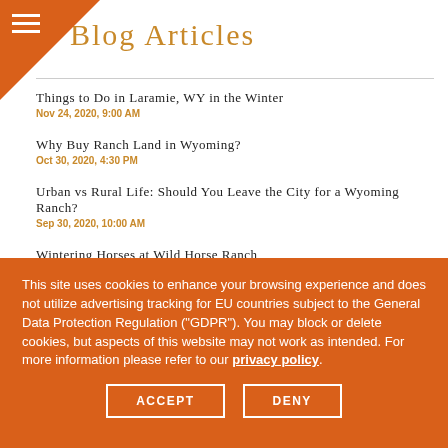Blog Articles
Things to Do in Laramie, WY in the Winter
Nov 24, 2020, 9:00 AM
Why Buy Ranch Land in Wyoming?
Oct 30, 2020, 4:30 PM
Urban vs Rural Life: Should You Leave the City for a Wyoming Ranch?
Sep 30, 2020, 10:00 AM
Wintering Horses at Wild Horse Ranch
Aug 3, 2021, 3:45 PM
Life in and Around Laramie, Wyoming
Jul 8, 2020, 3:05 PM
Buying a Ranch for Self-Sufficient Living
Jun 3, 2020, 12:05 PM
This site uses cookies to enhance your browsing experience and does not utilize advertising tracking for EU countries subject to the General Data Protection Regulation ("GDPR"). You may block or delete cookies, but aspects of this website may not work as intended. For more information please refer to our privacy policy.